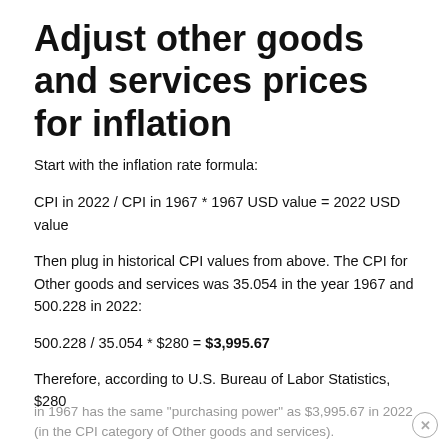Adjust other goods and services prices for inflation
Start with the inflation rate formula:
CPI in 2022 / CPI in 1967 * 1967 USD value = 2022 USD value
Then plug in historical CPI values from above. The CPI for Other goods and services was 35.054 in the year 1967 and 500.228 in 2022:
500.228 / 35.054 * $280 = $3,995.67
Therefore, according to U.S. Bureau of Labor Statistics, $280 in 1967 has the same "purchasing power" as $3,995.67 in 2022 (in the CPI category of Other goods and services).